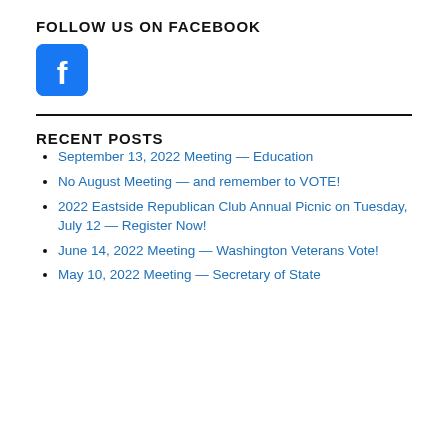FOLLOW US ON FACEBOOK
[Figure (logo): Facebook logo icon — white 'f' on a blue rounded square background]
RECENT POSTS
September 13, 2022 Meeting — Education
No August Meeting — and remember to VOTE!
2022 Eastside Republican Club Annual Picnic on Tuesday, July 12 — Register Now!
June 14, 2022 Meeting — Washington Veterans Vote!
May 10, 2022 Meeting — Secretary of State